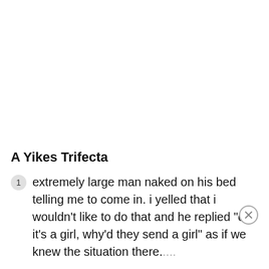A Yikes Trifecta
extremely large man naked on his bed telling me to come in. i yelled that i wouldn't like to do that and he replied "oh it's a girl, why'd they send a girl" as if we knew the situation there....